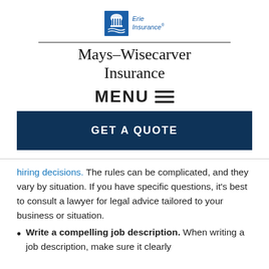[Figure (logo): Erie Insurance logo with blue building icon and italic text 'Erie Insurance']
Mays-Wisecarver Insurance
MENU ☰
GET A QUOTE
hiring decisions. The rules can be complicated, and they vary by situation. If you have specific questions, it's best to consult a lawyer for legal advice tailored to your business or situation.
Write a compelling job description. When writing a job description, make sure it clearly